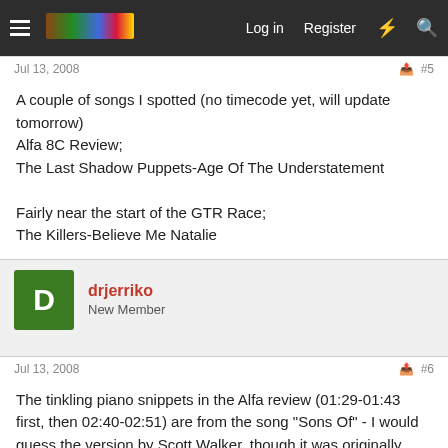Log in  Register
Jul 13, 2008  #5
A couple of songs I spotted (no timecode yet, will update tomorrow)
Alfa 8C Review;
The Last Shadow Puppets-Age Of The Understatement

Fairly near the start of the GTR Race;
The Killers-Believe Me Natalie
drjerriko
New Member
Jul 13, 2008  #6
The tinkling piano snippets in the Alfa review (01:29-01:43 first, then 02:40-02:51) are from the song "Sons Of" - I would guess the version by Scott Walker, though it was originally written by Jacques Brel (and titled "Fils de") and has been recorded many times, usually with the same piano part.